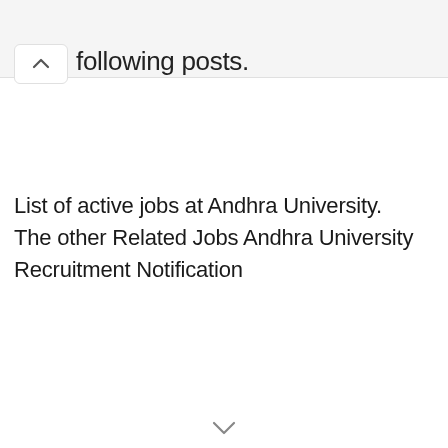following posts.
List of active jobs at Andhra University. The other Related Jobs Andhra University Recruitment Notification